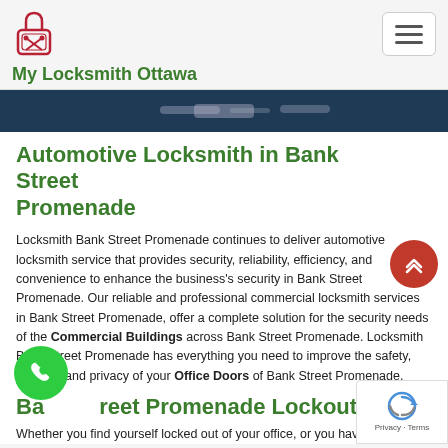[Figure (logo): My Locksmith Ottawa logo with padlock and crossed keys icon in red/maroon]
My Locksmith Ottawa
[Figure (photo): Hero image showing locksmith tools on dark background]
Automotive Locksmith in Bank Street Promenade
Locksmith Bank Street Promenade continues to deliver automotive locksmith service that provides security, reliability, efficiency, and convenience to enhance the business's security in Bank Street Promenade. Our reliable and professional commercial locksmith services in Bank Street Promenade, offer a complete solution for the security needs of the Commercial Buildings across Bank Street Promenade. Locksmith Bank Street Promenade has everything you need to improve the safety, security, and privacy of your Office Doors of Bank Street Promenade.
Bank Street Promenade Lockout Service
Whether you find yourself locked out of your office, or you have recently